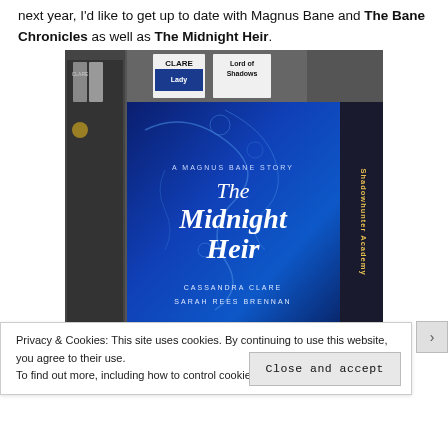next year, I'd like to get up to date with Magnus Bane and The Bane Chronicles as well as The Midnight Heir.
[Figure (photo): Photo of 'The Midnight Heir: A Magnus Bane Story' book by Cassandra Clare and Sarah Rees Brennan, with a dark blue cover featuring floral/vine designs, shown among other books including 'Shadowhunter Academy', 'Lady', and 'Lord of Shadows' by Clare.]
Privacy & Cookies: This site uses cookies. By continuing to use this website, you agree to their use.
To find out more, including how to control cookies, see here: Cookie Policy
Close and accept